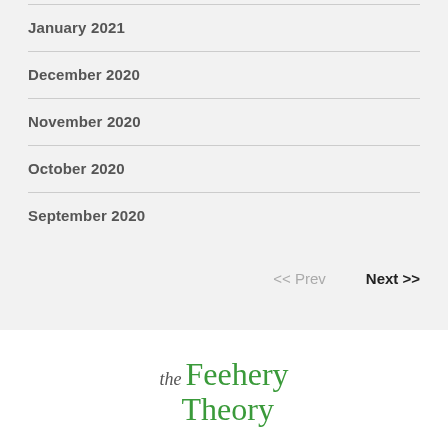January 2021
December 2020
November 2020
October 2020
September 2020
<< Prev    Next >>
[Figure (logo): The Feehery Theory logo in green serif italic font]